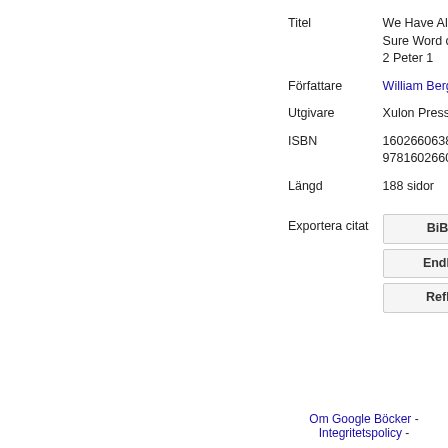| Titel | We Have Also a More Sure Word of Prophecy 2 Peter 1 |
| Författare | William Bergsma |
| Utgivare | Xulon Press, 2007 |
| ISBN | 1602660638, 9781602660632 |
| Längd | 188 sidor |
| Exportera citat | BiBTeX / EndNote / RefMan |
Om Google Böcker - Integritetspolicy -